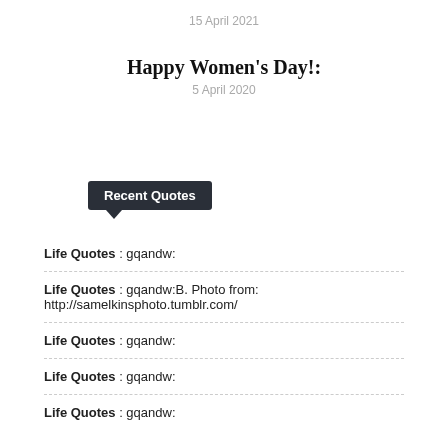15 April 2021
Happy Women's Day!:
5 April 2020
Recent Quotes
Life Quotes : gqandw:
Life Quotes : gqandw:B. Photo from: http://samelkinsphoto.tumblr.com/
Life Quotes : gqandw:
Life Quotes : gqandw:
Life Quotes : gqandw: